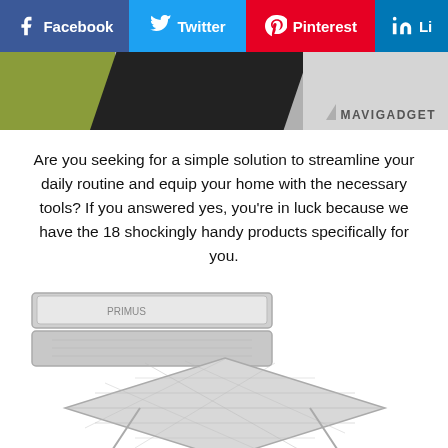Facebook  Twitter  Pinterest  LinkedIn
[Figure (photo): Top image strip showing product items with olive, dark, and light grey color blocks and MAVIGADGET logo watermark]
Are you seeking for a simple solution to streamline your daily routine and equip your home with the necessary tools? If you answered yes, you're in luck because we have the 18 shockingly handy products specifically for you.
[Figure (photo): Photo of a stainless steel portable camping stove/grill in its open box case (top), and a folding stainless steel mesh grill/fire pit (bottom)]